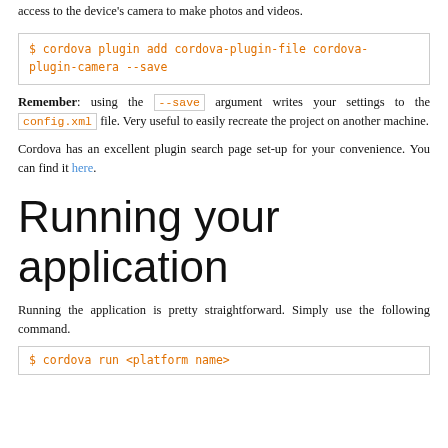access to the device's camera to make photos and videos.
$ cordova plugin add cordova-plugin-file cordova-plugin-camera --save
Remember: using the --save argument writes your settings to the config.xml file. Very useful to easily recreate the project on another machine.
Cordova has an excellent plugin search page set-up for your convenience. You can find it here.
Running your application
Running the application is pretty straightforward. Simply use the following command.
$ cordova run <platform name>